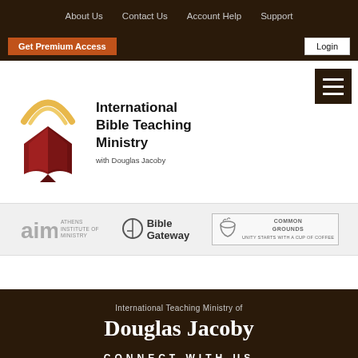About Us   Contact Us   Account Help   Support
Get Premium Access   Login
[Figure (logo): International Bible Teaching Ministry with Douglas Jacoby logo — red open book with golden arc above, beside bold text name]
[Figure (logo): Athens Institute of Ministry logo (aim)]
[Figure (logo): Bible Gateway logo]
[Figure (logo): Common Grounds Unity logo]
International Teaching Ministry of
Douglas Jacoby
CONNECT WITH US
[Figure (infographic): Social media icons: Facebook, LinkedIn, Twitter/X, Instagram]